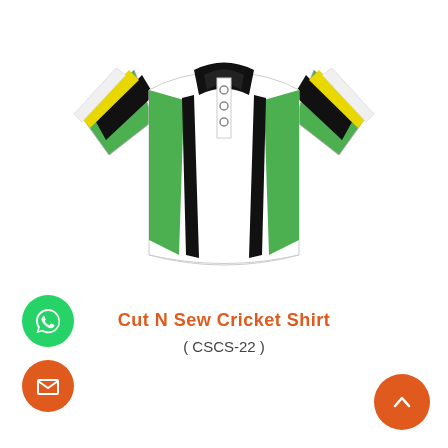[Figure (illustration): Cricket shirt/jersey illustration with white body, green and black side panels, yellow stripe on shoulders, black collar, and white buttons]
Cut N Sew Cricket Shirt
( CSCS-22 )
Enquire Now